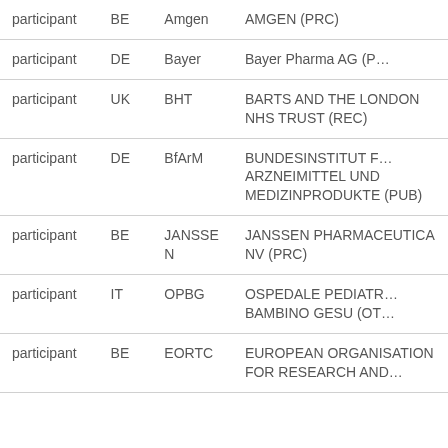| Role | Country | Short name | Full name |
| --- | --- | --- | --- |
| participant | BE | Amgen | AMGEN (PRC) |
| participant | DE | Bayer | Bayer Pharma AG (P… |
| participant | UK | BHT | BARTS AND THE LONDON NHS TRUST (REC) |
| participant | DE | BfArM | BUNDESINSTITUT F… ARZNEIMITTEL UND MEDIZINPRODUKTE (PUB) |
| participant | BE | JANSSEN | JANSSEN PHARMACEUTICA NV (PRC) |
| participant | IT | OPBG | OSPEDALE PEDIATR… BAMBINO GESU (OT… |
| participant | BE | EORTC | EUROPEAN ORGANISATION FOR RESEARCH AND… |